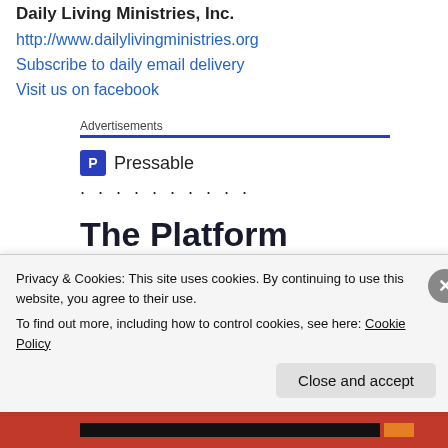Daily Living Ministries, Inc.
http://www.dailylivingministries.org
Subscribe to daily email delivery
Visit us on facebook
Advertisements
[Figure (other): Pressable logo and advertisement banner reading 'The Platform Where WordPress Works Best']
Privacy & Cookies: This site uses cookies. By continuing to use this website, you agree to their use.
To find out more, including how to control cookies, see here: Cookie Policy
Close and accept